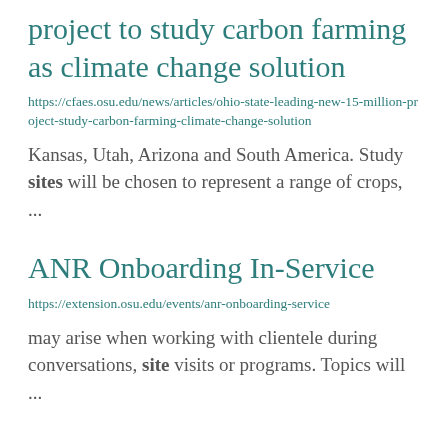project to study carbon farming as climate change solution
https://cfaes.osu.edu/news/articles/ohio-state-leading-new-15-million-project-study-carbon-farming-climate-change-solution
Kansas, Utah, Arizona and South America. Study sites will be chosen to represent a range of crops, ...
ANR Onboarding In-Service
https://extension.osu.edu/events/anr-onboarding-service
may arise when working with clientele during conversations, site visits or programs. Topics will ...